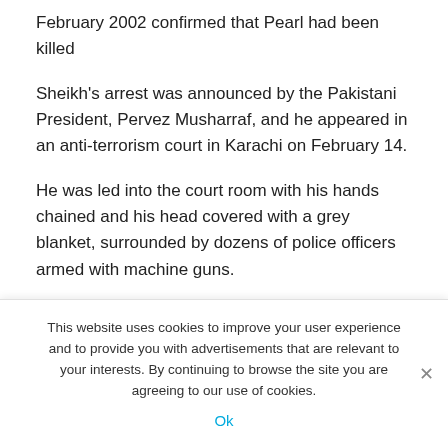February 2002 confirmed that Pearl had been killed
Sheikh's arrest was announced by the Pakistani President, Pervez Musharraf, and he appeared in an anti-terrorism court in Karachi on February 14.
He was led into the court room with his hands chained and his head covered with a grey blanket, surrounded by dozens of police officers armed with machine guns.
He removed a blanket from his head and told the court: 'I want to make it clear I will not defend the case. It was of my own free ...''
This website uses cookies to improve your user experience and to provide you with advertisements that are relevant to your interests. By continuing to browse the site you are agreeing to our use of cookies.
Ok